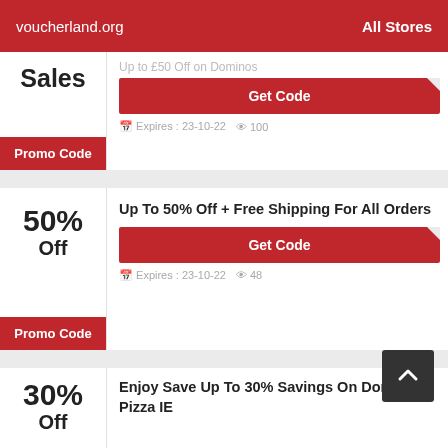voucherland.org  All Stores
Sales
Promo Code
Up to £50 Off on Dominos
Get Code
Expires : 23-10-22   100
50% Off
Promo Code
Up To 50% Off + Free Shipping For All Orders
Get Code
Expires : 23-10-22   48
30% Off
Enjoy Save Up To 30% Savings On Dominos Pizza IE